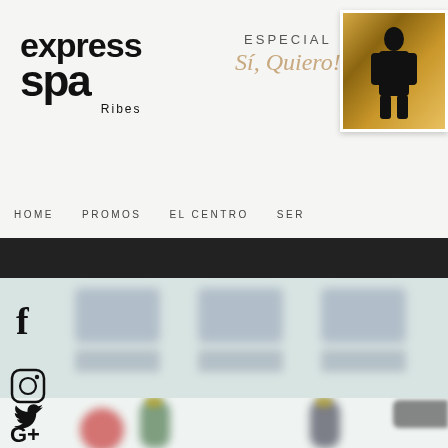[Figure (logo): Express Spa Ribes logo in black bold text]
ESPECIAL
Sí, Quiero!
[Figure (photo): Small thumbnail photo of a person in black suit at golden doorway]
HOME   PROMOS   EL CENTRO   SER
[Figure (screenshot): Website screenshot showing social media icons (f, Instagram, Twitter, G+) and blurred content cards on teal/white background]